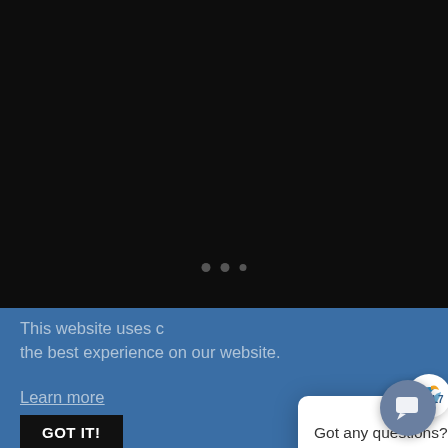[Figure (screenshot): Dark black background area taking up top portion of page, with three small dots (loading/carousel indicator) near center]
This website uses c… the best experience on our website.
Learn more
GOT IT!
[Figure (screenshot): Chat widget popup card with L7 logo, close button (×), and text 'Got any questions? I'm happy to help.']
[Figure (screenshot): Chat bubble button (round icon with speech bubble) in bottom right corner]